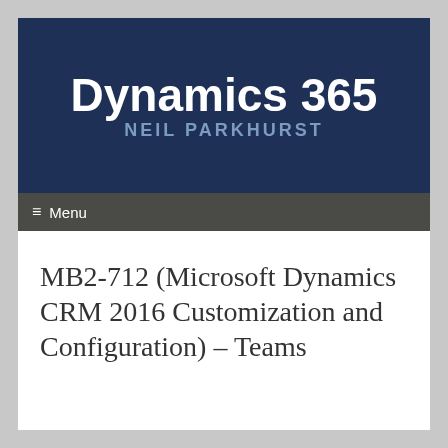Dynamics 365
NEIL PARKHURST
≡ Menu
MB2-712 (Microsoft Dynamics CRM 2016 Customization and Configuration) – Teams